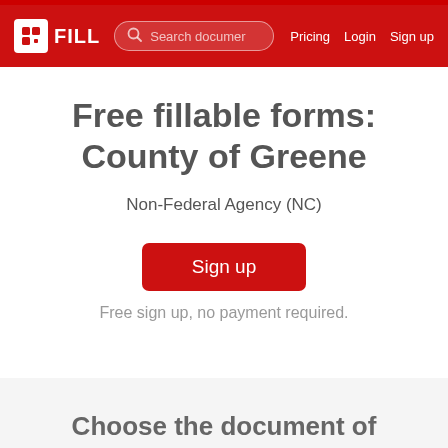FILL — Search documents — Pricing Login Sign up
Free fillable forms: County of Greene
Non-Federal Agency (NC)
Sign up
Free sign up, no payment required.
Choose the document of